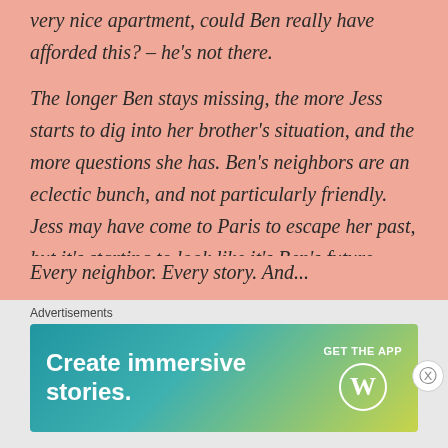very nice apartment, could Ben really have afforded this? – he's not there.
The longer Ben stays missing, the more Jess starts to dig into her brother's situation, and the more questions she has. Ben's neighbors are an eclectic bunch, and not particularly friendly. Jess may have come to Paris to escape her past, but it's starting to look like it's Ben's future that's in question.
The socialite – The nice guy – The alcoholic – The girl on the verge – The concierge
Every neighbor. Every story. And...
Advertisements
[Figure (other): WordPress advertisement banner: 'Create immersive stories.' with GET THE APP button and WordPress logo]